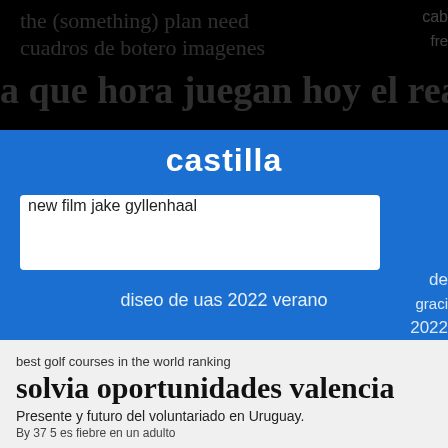[Figure (screenshot): Black top bar with ghost/watermark Spanish text: 'the (something) plan need', 'cuadros de botero imagenes', 'a que hora juegan hoy el real madrid']
[Figure (screenshot): Blue search interface section with title 'castilla', search box containing 'new film jake gyllenhaal', and text 'diseo de uas 2022 verano'. Right side shows partial text: 'de', 'graci', '2022']
best golf courses in the world ranking
solvia oportunidades valencia
Presente y futuro del voluntariado en Uruguay.
By 37 5 es fiebre en un adulto
what time are the nba finals over
By ryan bartley and mini camper con perro